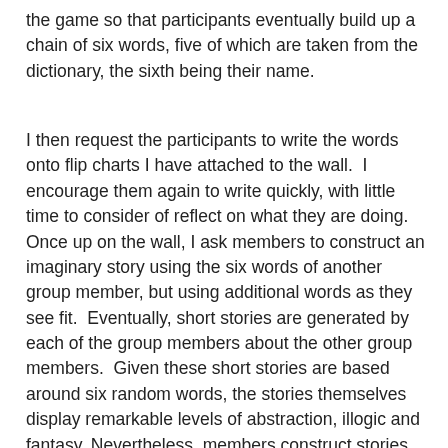the game so that participants eventually build up a chain of six words, five of which are taken from the dictionary, the sixth being their name.
I then request the participants to write the words onto flip charts I have attached to the wall.  I encourage them again to write quickly, with little time to consider of reflect on what they are doing. Once up on the wall, I ask members to construct an imaginary story using the six words of another group member, but using additional words as they see fit.  Eventually, short stories are generated by each of the group members about the other group members.  Given these short stories are based around six random words, the stories themselves display remarkable levels of abstraction, illogic and fantasy. Nevertheless, members construct stories which are intelligible to varying degrees: the point being made here that human's abilities to generate meaning is deeply ingrained in our psyche and that our powers of interpretation and meaning-making are perhaps as essential as our ability to breath and digest and